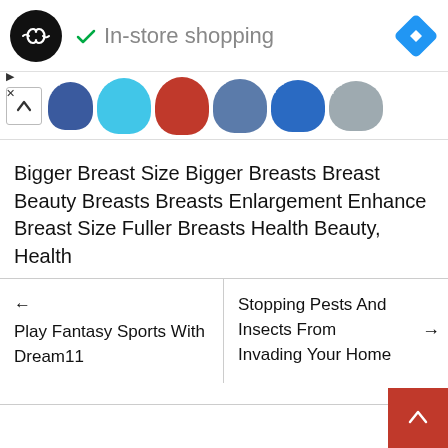[Figure (screenshot): Ad banner with black circular logo with infinity arrows icon, green checkmark, 'In-store shopping' text, and blue diamond navigation icon]
[Figure (screenshot): Row of color swatches (dark blue, light blue, red, steel blue, blue, gray) with up caret button]
Bigger Breast Size Bigger Breasts Breast Beauty Breasts Breasts Enlargement Enhance Breast Size Fuller Breasts Health Beauty, Health
← Play Fantasy Sports With Dream11
Stopping Pests And Insects From Invading Your Home →